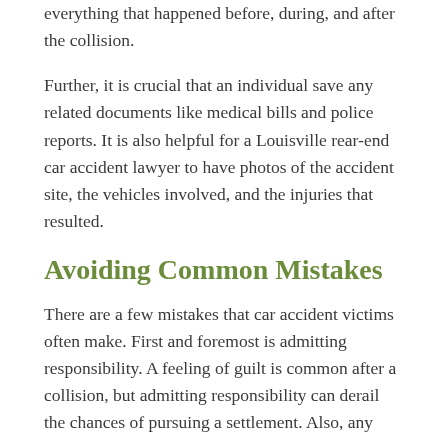everything that happened before, during, and after the collision.
Further, it is crucial that an individual save any related documents like medical bills and police reports. It is also helpful for a Louisville rear-end car accident lawyer to have photos of the accident site, the vehicles involved, and the injuries that resulted.
Avoiding Common Mistakes
There are a few mistakes that car accident victims often make. First and foremost is admitting responsibility. A feeling of guilt is common after a collision, but admitting responsibility can derail the chances of pursuing a settlement. Also, any